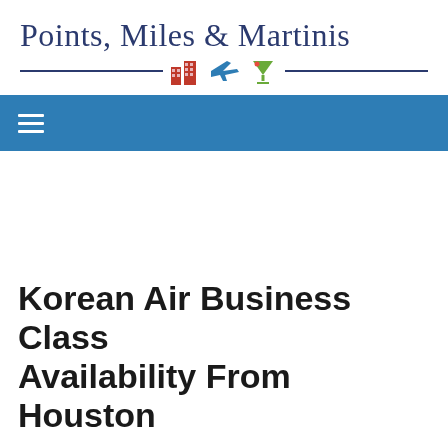Points, Miles & Martinis
Korean Air Business Class Availability From Houston
Route–New Service Starts In May